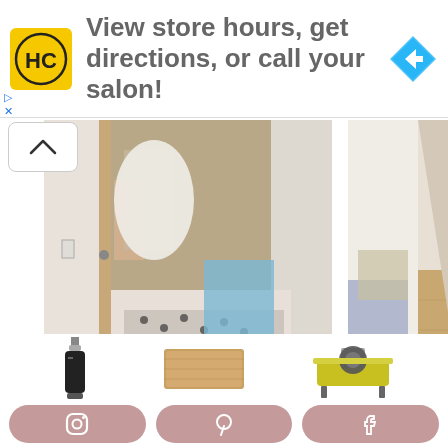[Figure (infographic): Advertisement banner: HC logo in yellow square, text 'View store hours, get directions, or call your salon!', blue diamond direction arrow on right]
[Figure (photo): Left room photo: cluttered bedroom/closet area with open door, black and white polka dot fabric on floor, tools and items visible]
[Figure (photo): Right room photo: hallway/utility area with open door, wood floor, cleaning supplies and items on sides]
If you want to know what tools and materials I used for this project, shop my post below.
[Figure (photo): Bottom strip showing products: caulk tube, wooden board/flooring piece, and a table saw]
[Figure (infographic): Social media buttons bar: Instagram, Pinterest, Facebook icons on mauve/rose colored pill-shaped buttons]